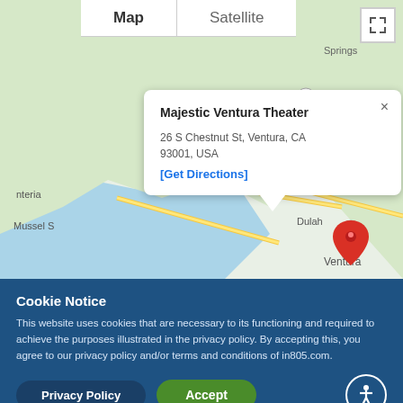[Figure (map): Google Maps view showing Ventura, CA area with map/satellite toggle tabs, fullscreen button, and a location popup for Majestic Ventura Theater at 26 S Chestnut St, Ventura, CA 93001, USA with a red location pin and [Get Directions] link.]
Cookie Notice
This website uses cookies that are necessary to its functioning and required to achieve the purposes illustrated in the privacy policy. By accepting this, you agree to our privacy policy and/or terms and conditions of in805.com.